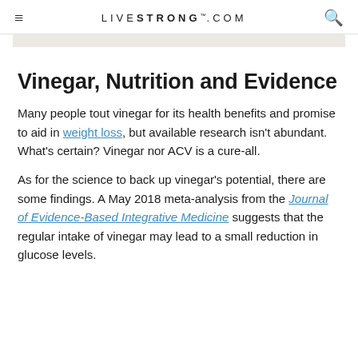LIVESTRONG.COM
Vinegar, Nutrition and Evidence
Many people tout vinegar for its health benefits and promise to aid in weight loss, but available research isn't abundant. What's certain? Vinegar nor ACV is a cure-all.
As for the science to back up vinegar's potential, there are some findings. A May 2018 meta-analysis from the Journal of Evidence-Based Integrative Medicine suggests that the regular intake of vinegar may lead to a small reduction in glucose levels.